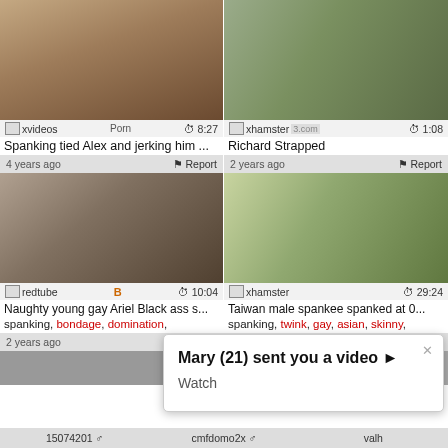[Figure (screenshot): Video thumbnail grid showing adult content thumbnails with titles, tags, and metadata. Contains notification overlay reading 'Mary (21) sent you a video ► Watch']